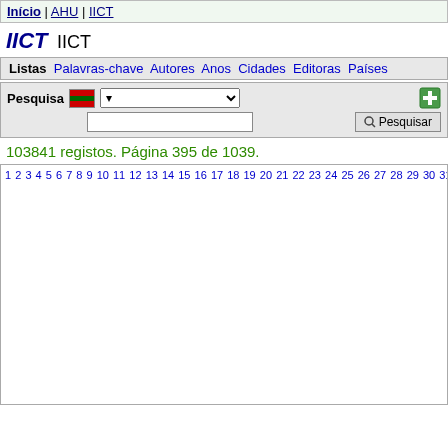Início | AHU | IICT
IICT  IICT
Listas  Palavras-chave  Autores  Anos  Cidades  Editoras  Países
Pesquisa [search controls]
103841 registos. Página 395 de 1039.
1 2 3 4 5 6 7 8 9 10 11 12 13 14 15 16 17 18 19 20 21 22 23 24 25 26 27 28 29 30 31 32 33 34 35 36 37 38 39 40 41 42 43 44 45 46 47 48 49 50 51 52 53 54 55 56 57 58 59 60 61 62 63 64 65 66 67 68 69 70 71 72 73 74 75 76 77 78 79 80 81 82 83 84 85 86 87 88 89 90 91 92 93 94 95 96 97 98 99 100 ... 516